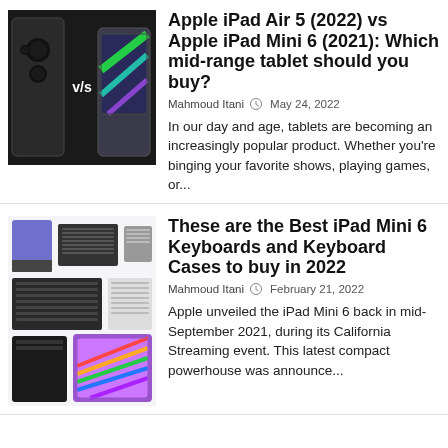[Figure (photo): Two tablets side by side with V/S text between them — iPad Air 5 vs iPad Mini 6]
Apple iPad Air 5 (2022) vs Apple iPad Mini 6 (2021): Which mid-range tablet should you buy?
Mahmoud Itani  May 24, 2022
In our day and age, tablets are becoming an increasingly popular product. Whether you're binging your favorite shows, playing games, or...
[Figure (photo): Collage of iPad Mini 6 keyboards and keyboard cases — multiple keyboards and folios arranged in a grid]
These are the Best iPad Mini 6 Keyboards and Keyboard Cases to buy in 2022
Mahmoud Itani  February 21, 2022
Apple unveiled the iPad Mini 6 back in mid-September 2021, during its California Streaming event. This latest compact powerhouse was announce...